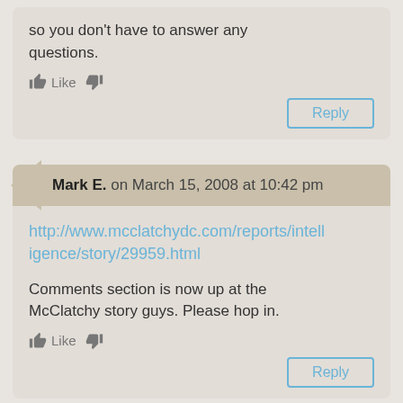so you don't have to answer any questions.
Like [thumbs up] [thumbs down]
Reply
Mark E. on March 15, 2008 at 10:42 pm
http://www.mcclatchydc.com/reports/intelligence/story/29959.html
Comments section is now up at the McClatchy story guys. Please hop in.
Like [thumbs up] [thumbs down]
Reply